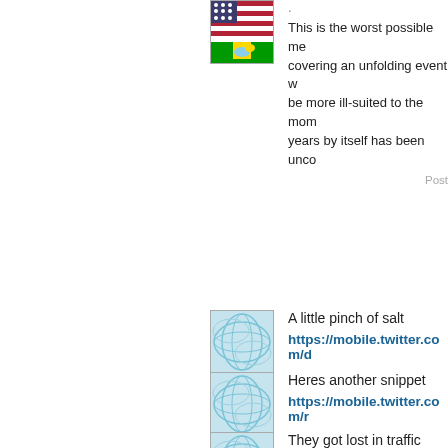[Figure (photo): Flag thumbnail showing American flag combined with another flag, colorful]
This is the worst possible me covering an unfolding event w be more ill-suited to the mom years by itself has been unco
Post
[Figure (photo): Light blue decorative pattern thumbnail]
A little pinch of salt
https://mobile.twitter.com/d
[Figure (photo): Light blue decorative pattern thumbnail]
Heres another snippet
https://mobile.twitter.com/r
[Figure (photo): Light blue decorative pattern thumbnail]
They got lost in traffic
https://www.nytimes.com/2
Washington-state.html